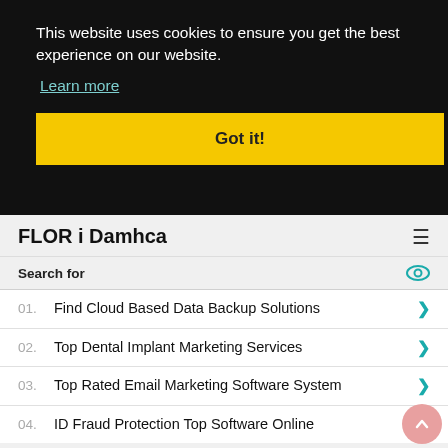This website uses cookies to ensure you get the best experience on our website.
Learn more
Got it!
FLOR i Damhca
Search for
01. Find Cloud Based Data Backup Solutions
02. Top Dental Implant Marketing Services
03. Top Rated Email Marketing Software System
04. ID Fraud Protection Top Software Online